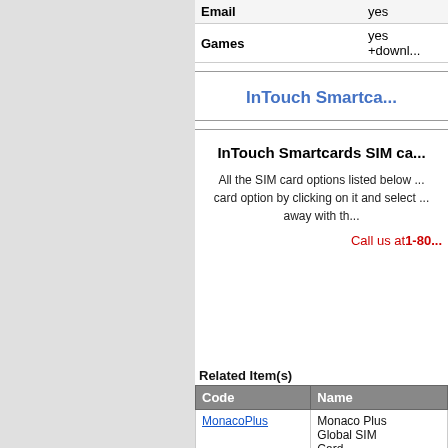| Feature | Value |
| --- | --- |
| Email | yes |
| Games | yes +downl... |
InTouch Smartca...
InTouch Smartcards SIM ca...
All the SIM card options listed below ... card option by clicking on it and select ... away with th...
Call us at1-80...
Related Item(s)
| Code | Name |
| --- | --- |
| MonacoPlus | Monaco Plus Global SIM Card (Swisscom Replacement...) |